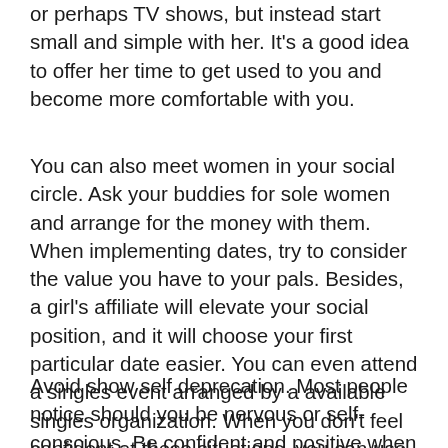or perhaps TV shows, but instead start small and simple with her. It's a good idea to offer her time to get used to you and become more comfortable with you.
You can also meet women in your social circle. Ask your buddies for sole women and arrange for the money with them. When implementing dates, try to consider the value you have to your pals. Besides, a girl's affiliate will elevate your social position, and it will choose your first particular date easier. You can even attend a singles event arranged by a available singles organization. When you don't feel confident at these situations, you can use the street as a place to meet up with women.
Avoid show self deprecation. Most people notice should you be nervous or self-conscious. Be confident and positive when meeting new people. Men which have the confidence to talk to females will attract ladies. Read ebooks that teach men tips on how to meet ladies and